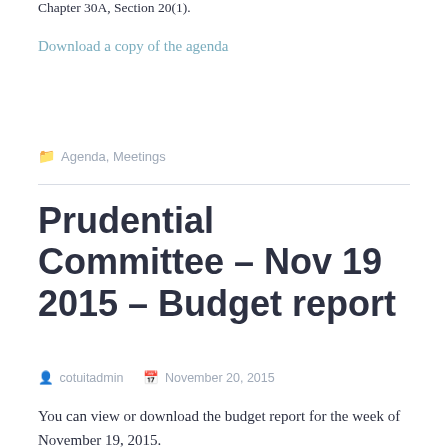Chapter 30A, Section 20(1).
Download a copy of the agenda
Agenda, Meetings
Prudential Committee – Nov 19 2015 – Budget report
cotuitadmin   November 20, 2015
You can view or download the budget report for the week of November 19, 2015.